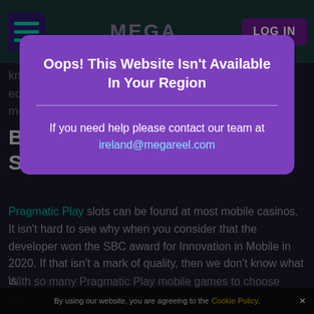[Figure (screenshot): Website header/navigation bar with hamburger menu icon, MEGA logo, and LOG IN button on dark teal background]
know wh... essarily equal qu... Let's take a look at some of the best mobile s...
Best Pragmatic Play Mobile Slots in 2021
Pragmatic Play slots can be found at most mobile casinos. It isn't hard to see why when you consider that the developer won the SBC award for Innovation in Mobile in 2020. If that isn't a mark of quality, then we don't know what is.
With so many Pragmatic Play mobile games to choose from, which ones should you play? Let's take a look at...
Oops! This Website Isn't Available In Your Region
If you need help please contact our team at ireland@megareel.com
By using our website, you are agreeing to the Cookie Policy. ✕